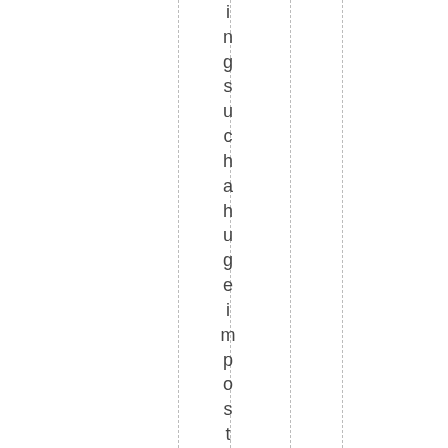ing such a huge impostonment people